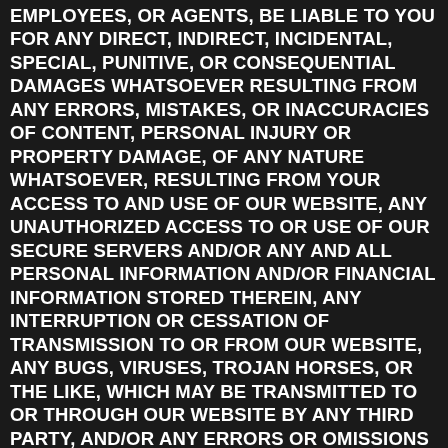EMPLOYEES, OR AGENTS, BE LIABLE TO YOU FOR ANY DIRECT, INDIRECT, INCIDENTAL, SPECIAL, PUNITIVE, OR CONSEQUENTIAL DAMAGES WHATSOEVER RESULTING FROM ANY ERRORS, MISTAKES, OR INACCURACIES OF CONTENT, PERSONAL INJURY OR PROPERTY DAMAGE, OF ANY NATURE WHATSOEVER, RESULTING FROM YOUR ACCESS TO AND USE OF OUR WEBSITE, ANY UNAUTHORIZED ACCESS TO OR USE OF OUR SECURE SERVERS AND/OR ANY AND ALL PERSONAL INFORMATION AND/OR FINANCIAL INFORMATION STORED THEREIN, ANY INTERRUPTION OR CESSATION OF TRANSMISSION TO OR FROM OUR WEBSITE, ANY BUGS, VIRUSES, TROJAN HORSES, OR THE LIKE, WHICH MAY BE TRANSMITTED TO OR THROUGH OUR WEBSITE BY ANY THIRD PARTY, AND/OR ANY ERRORS OR OMISSIONS IN ANY CONTENT OR FOR ANY LOSS OR DAMAGE OF ANY KIND INCURRED AS A RESULT OF YOUR USE OF ANY CONTENT POSTED, EMAILED, TRANSMITTED, OR OTHERWISE MADE AVAILABLE VIA THE EXO LOVER WEBSITE, WHETHER BASED ON WARRANTY, CONTRACT, TORT, OR ANY OTHER LEGAL THEORY, AND WHETHER OR NOT THE COMPANY IS ADVISED OF THE POSSIBILITY OF SUCH DAMAGES. THE FOREGOING LIMITATION OF LIABILITY SHALL APPLY TO THE FULLEST EXTENT PERMITTED BY LAW IN THE APPLICABLE